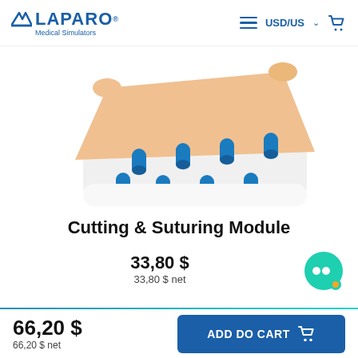LAPARO® Medical Simulators | USD/US
[Figure (photo): Close-up of a Cutting & Suturing Module showing a peach/skin-colored flat pad with blue cylindrical supports/legs on a white tray]
Cutting & Suturing Module
33,80 $
33,80 $ net
66,20 $
66,20 $ net
ADD DO CART